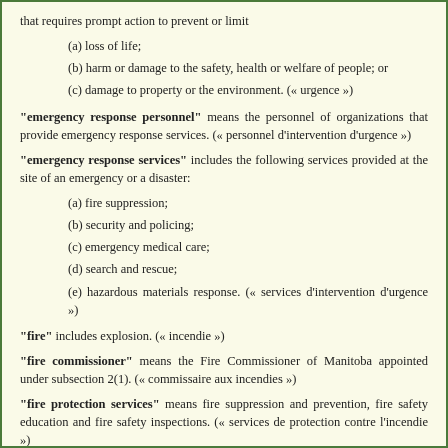that requires prompt action to prevent or limit
(a) loss of life;
(b) harm or damage to the safety, health or welfare of people; or
(c) damage to property or the environment. (« urgence »)
"emergency response personnel" means the personnel of organizations that provide emergency response services. (« personnel d'intervention d'urgence »)
"emergency response services" includes the following services provided at the site of an emergency or a disaster:
(a) fire suppression;
(b) security and policing;
(c) emergency medical care;
(d) search and rescue;
(e) hazardous materials response. (« services d'intervention d'urgence »)
"fire" includes explosion. (« incendie »)
"fire commissioner" means the Fire Commissioner of Manitoba appointed under subsection 2(1). (« commissaire aux incendies »)
"fire protection services" means fire suppression and prevention, fire safety education and fire safety inspections. (« services de protection contre l'incendie »)